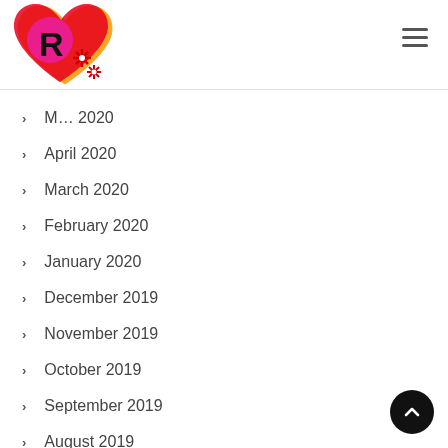Navigation header with logo and hamburger menu
May 2020
April 2020
March 2020
February 2020
January 2020
December 2019
November 2019
October 2019
September 2019
August 2019
July 2019